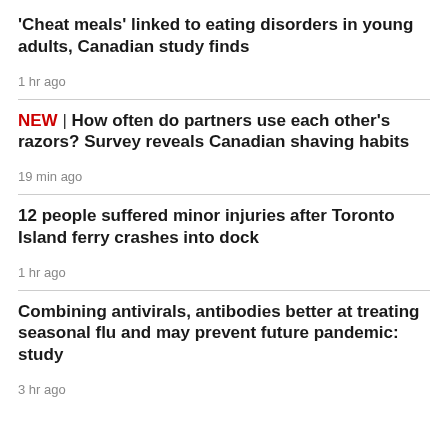'Cheat meals' linked to eating disorders in young adults, Canadian study finds
1 hr ago
NEW | How often do partners use each other's razors? Survey reveals Canadian shaving habits
19 min ago
12 people suffered minor injuries after Toronto Island ferry crashes into dock
1 hr ago
Combining antivirals, antibodies better at treating seasonal flu and may prevent future pandemic: study
3 hr ago